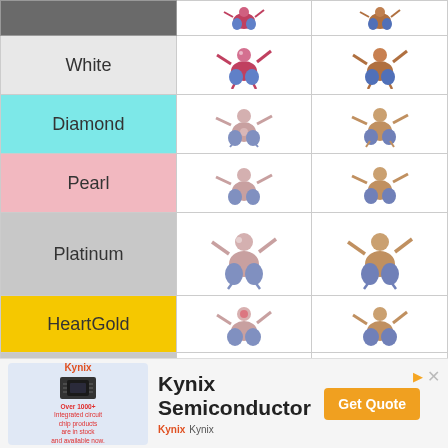| Game | Sprite 1 | Sprite 2 |
| --- | --- | --- |
| (header/dark) |  |  |
| White | [sprite] | [sprite] |
| Diamond | [sprite] | [sprite] |
| Pearl | [sprite] | [sprite] |
| Platinum | [sprite] | [sprite] |
| HeartGold | [sprite] | [sprite] |
| SoulSilver | [sprite] | [sprite] |
[Figure (infographic): Advertisement banner for Kynix Semiconductor featuring a chip product image, company logo, and Get Quote button.]